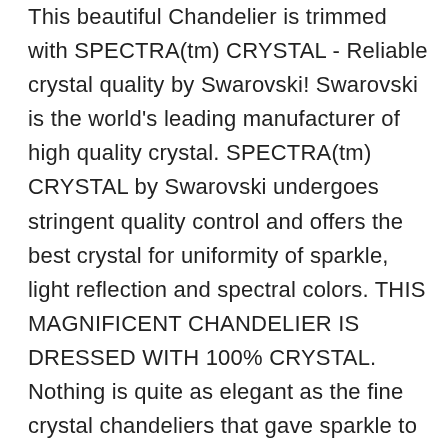This beautiful Chandelier is trimmed with SPECTRA(tm) CRYSTAL - Reliable crystal quality by Swarovski! Swarovski is the world's leading manufacturer of high quality crystal. SPECTRA(tm) CRYSTAL by Swarovski undergoes stringent quality control and offers the best crystal for uniformity of sparkle, light reflection and spectral colors. THIS MAGNIFICENT CHANDELIER IS DRESSED WITH 100% CRYSTAL. Nothing is quite as elegant as the fine crystal chandeliers that gave sparkle to brilliant evenings at palaces and manor houses across Europe. This beautiful chandelier has 3 lights and is decorated and draped with 100% crystal that capture and reflect the light of the candle bulbs. This wonderful chandelier also comes with the large shade as shown. The timeless elegance of this chandelier is sure to lend a special atmosphere anywhere its placed! This chandelier is dressed with spectacular crystal which take the